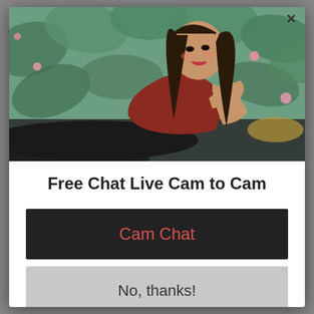[Figure (photo): Young Asian woman in a red dress lying down in a garden with green lotus leaves and pink flowers in the background. A close button (X) appears in the top-right corner of the photo.]
Free Chat Live Cam to Cam
Cam Chat
No, thanks!